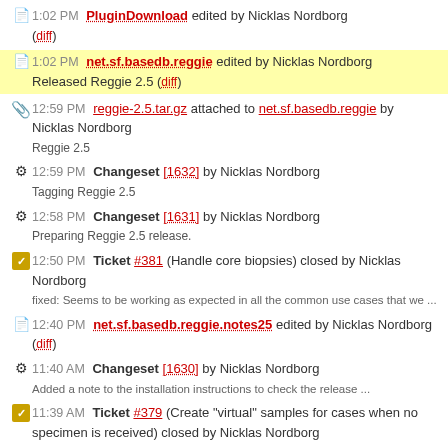1:02 PM PluginDownload edited by Nicklas Nordborg (diff)
1:02 PM net.sf.basedb.reggie edited by Nicklas Nordborg
Released Reggie 2.5 (diff)
12:59 PM reggie-2.5.tar.gz attached to net.sf.basedb.reggie by Nicklas Nordborg
Reggie 2.5
12:59 PM Changeset [1632] by Nicklas Nordborg
Tagging Reggie 2.5
12:58 PM Changeset [1631] by Nicklas Nordborg
Preparing Reggie 2.5 release.
12:50 PM Ticket #381 (Handle core biopsies) closed by Nicklas Nordborg
fixed: Seems to be working as expected in all the common use cases that we ...
12:40 PM net.sf.basedb.reggie.notes25 edited by Nicklas Nordborg (diff)
11:40 AM Changeset [1630] by Nicklas Nordborg
Added a note to the installation instructions to check the release ...
11:39 AM Ticket #379 (Create "virtual" samples for cases when no specimen is received) closed by Nicklas Nordborg
fixed: Seems to be working now.